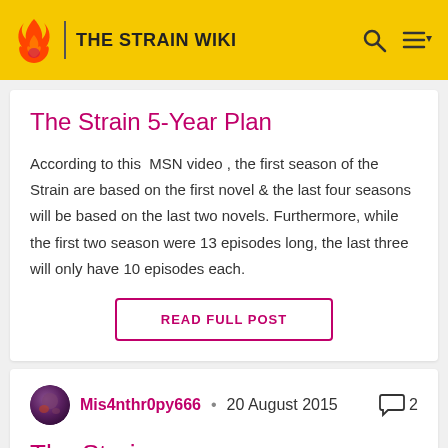THE STRAIN WIKI
The Strain 5-Year Plan
According to this  MSN video , the first season of the Strain are based on the first novel & the last four seasons will be based on the last two novels. Furthermore, while the first two season were 13 episodes long, the last three will only have 10 episodes each.
READ FULL POST
Mis4nthr0py666 • 20 August 2015  2
The Strain -